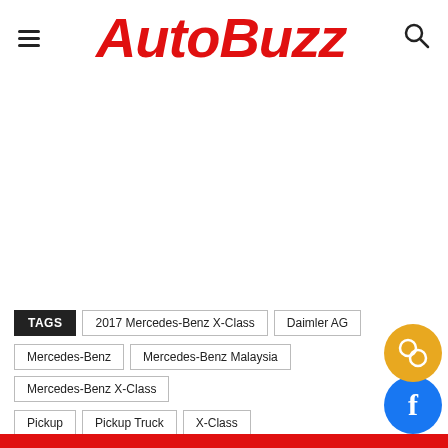AutoBuzz
TAGS  2017 Mercedes-Benz X-Class  Daimler AG  Mercedes-Benz  Mercedes-Benz Malaysia  Mercedes-Benz X-Class  Pickup  Pickup Truck  X-Class